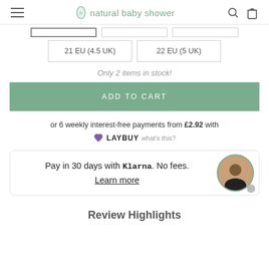natural baby shower
21 EU (4.5 UK) | 22 EU (5 UK)
Only 2 items in stock!
ADD TO CART
or 6 weekly interest-free payments from £2.92 with LAYBUY what's this?
Pay in 30 days with Klarna. No fees. Learn more
Review Highlights